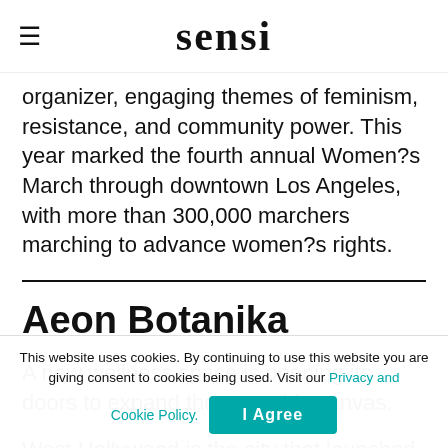≡  sensi
organizer, engaging themes of feminism, resistance, and community power. This year marked the fourth annual Women?s March through downtown Los Angeles, with more than 300,000 marchers marching to advance women?s rights.
Aeon Botanika
A new wellness space is opening its doors to expand the cannabis canvas.
West Hollywood is the city that launched the first
This website uses cookies. By continuing to use this website you are giving consent to cookies being used. Visit our Privacy and Cookie Policy.   I Agree